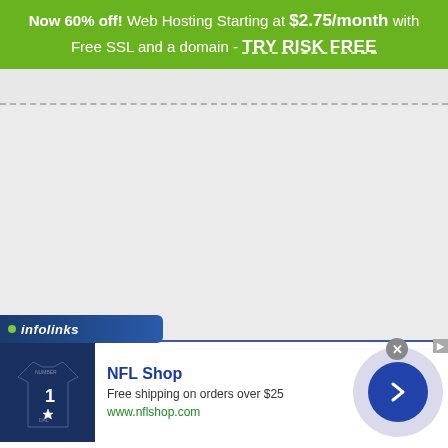[Figure (infographic): Green promotional banner advertisement: 'Now 60% off! Web Hosting Starting at $2.75/month with Free SSL and a domain - TRY RISK FREE']
[Figure (infographic): Infolinks branded overlay bar with NFL Shop advertisement showing a Dallas Cowboys jersey, 'NFL Shop', 'Free shipping on orders over $25', 'www.nflshop.com', and a blue arrow navigation button. Close (X) button visible.]